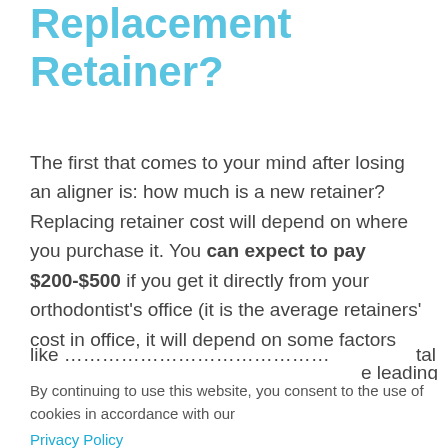Replacement Retainer?
The first that comes to your mind after losing an aligner is: how much is a new retainer? Replacing retainer cost will depend on where you purchase it. You can expect to pay $200-$500 if you get it directly from your orthodontist's office (it is the average retainers' cost in office, it will depend on some factors like...
By continuing to use this website, you consent to the use of cookies in accordance with our Privacy Policy